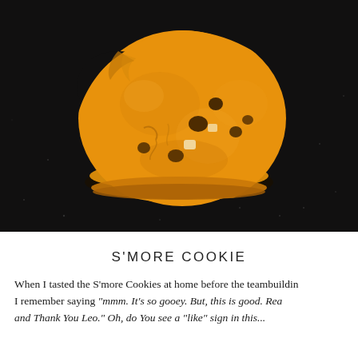[Figure (photo): A golden-brown s'more cookie with a bite taken out, showing chocolate chunks inside, photographed from above on a dark speckled background.]
S'MORE COOKIE
When I tasted the S'more Cookies at home before the teambuilding, I remember saying "mmm. It's so gooey. But, this is good. Rea... and Thank You Leo." Oh, do You see a "like" sign in this...